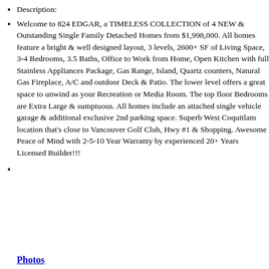Description:
Welcome to 824 EDGAR, a TIMELESS COLLECTION of 4 NEW & Outstanding Single Family Detached Homes from $1,998,000. All homes feature a bright & well designed layout, 3 levels, 2600+ SF of Living Space, 3-4 Bedrooms, 3.5 Baths, Office to Work from Home, Open Kitchen with full Stainless Appliances Package, Gas Range, Island, Quartz counters, Natural Gas Fireplace, A/C and outdoor Deck & Patio. The lower level offers a great space to unwind as your Recreation or Media Room. The top floor Bedrooms are Extra Large & sumptuous. All homes include an attached single vehicle garage & additional exclusive 2nd parking space. Superb West Coquitlam location that's close to Vancouver Golf Club, Hwy #1 & Shopping. Awesome Peace of Mind with 2-5-10 Year Warranty by experienced 20+ Years Licensed Builder!!!
Photos